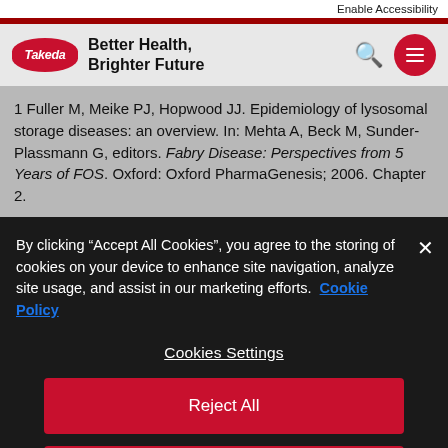Enable Accessibility
Better Health, Brighter Future
1 Fuller M, Meike PJ, Hopwood JJ. Epidemiology of lysosomal storage diseases: an overview. In: Mehta A, Beck M, Sunder-Plassmann G, editors. Fabry Disease: Perspectives from 5 Years of FOS. Oxford: Oxford PharmaGenesis; 2006. Chapter 2.
By clicking “Accept All Cookies”, you agree to the storing of cookies on your device to enhance site navigation, analyze site usage, and assist in our marketing efforts. Cookie Policy
Cookies Settings
Reject All
Accept All Cookies